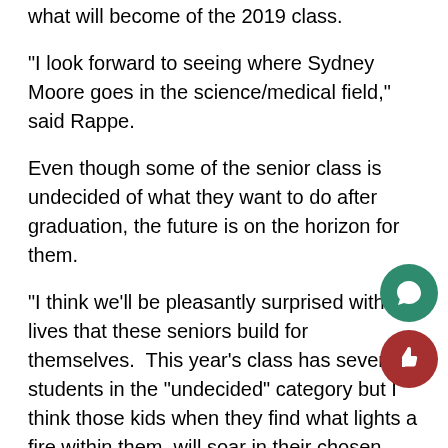what will become of the 2019 class.
“I look forward to seeing where Sydney Moore goes in the science/medical field,” said Rappe.
Even though some of the senior class is undecided of what they want to do after graduation, the future is on the horizon for them.
“I think we’ll be pleasantly surprised with the lives that these seniors build for themselves.  This year’s class has several students in the “undecided” category but I think those kids when they find what lights a fire within them, will soar in their chosen careers.  I’m excited to see where they land,” said Tricia Campbell.
The class of 2019 has the schools love and hope t… great things in the future.
“You are capable of amazing things.  Hold true to y…